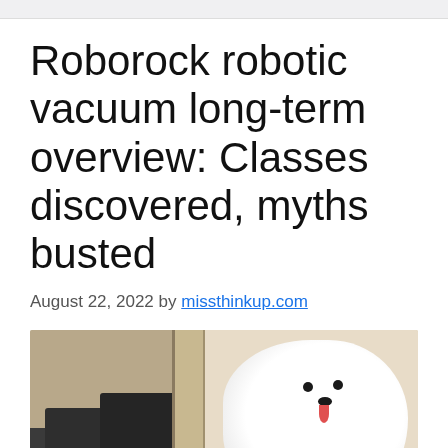Roborock robotic vacuum long-term overview: Classes discovered, myths busted
August 22, 2022 by missthinkup.com
[Figure (photo): A white fluffy Samoyed dog sitting on the right side, smiling with tongue out. On the left side are dark plastic bins/boxes and a robotic vacuum dock near a doorway with beige walls and light wood floor.]